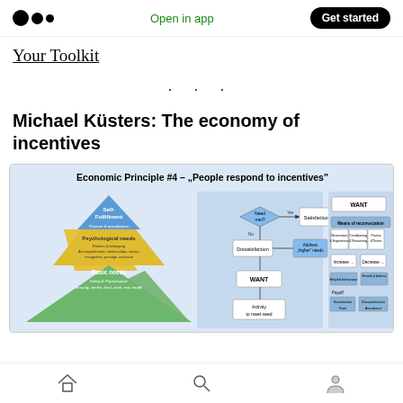Open in app  Get started
Your Toolkit
· · ·
Michael Küsters: The economy of incentives
[Figure (infographic): Economic Principle #4 – 'People respond to incentives' infographic showing Maslow's hierarchy of needs pyramid (Basic needs, Psychological needs, Self-Fulfillment), a flowchart (Need met? → Satisfaction / Dissatisfaction → Address 'higher' needs → WANT → Activity to meet need), and a behavior/payoff diagram (WANT → Means of reconvocation: Observation & Experience, Conditioning & Reasoning, Promise & Threat → Increase / Decrease → Helpful behaviour / Harmful behaviour → Payoff: Satisfaction Gain / Dissatisfaction Avoidance)]
Home  Search  Profile